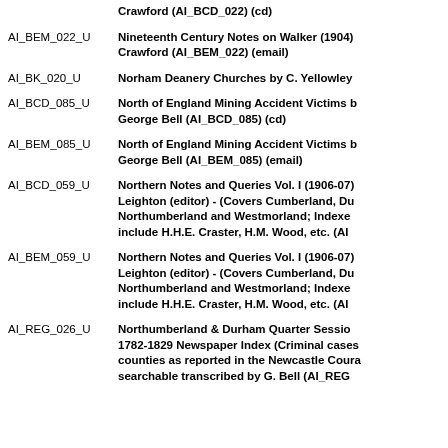Crawford (AI_BCD_022) (cd)
AI_BEM_022_U  Nineteenth Century Notes on Walker (1904) Crawford (AI_BEM_022) (email)
AI_BK_020_U  Norham Deanery Churches by C. Yellowley
AI_BCD_085_U  North of England Mining Accident Victims by George Bell (AI_BCD_085) (cd)
AI_BEM_085_U  North of England Mining Accident Victims by George Bell (AI_BEM_085) (email)
AI_BCD_059_U  Northern Notes and Queries Vol. I (1906-07) Leighton (editor) - (Covers Cumberland, Durham, Northumberland and Westmorland; Indexes include H.H.E. Craster, H.M. Wood, etc. (AI_BCD_059)
AI_BEM_059_U  Northern Notes and Queries Vol. I (1906-07) Leighton (editor) - (Covers Cumberland, Durham, Northumberland and Westmorland; Indexes include H.H.E. Craster, H.M. Wood, etc. (AI_BEM_059)
AI_REG_026_U  Northumberland & Durham Quarter Sessions 1782-1829 Newspaper Index (Criminal cases in both counties as reported in the Newcastle Courant; searchable transcribed by G. Bell (AI_REG_026)